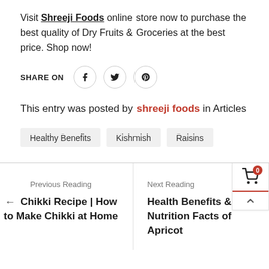Visit Shreeji Foods online store now to purchase the best quality of Dry Fruits & Groceries at the best price. Shop now!
SHARE ON
This entry was posted by shreeji foods in Articles
Healthy Benefits
Kishmish
Raisins
Previous Reading
Chikki Recipe | How to Make Chikki at Home
Next Reading
Health Benefits & Nutrition Facts of Apricot